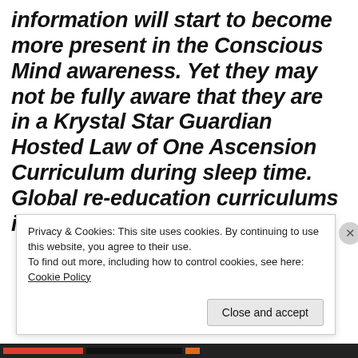information will start to become more present in the Conscious Mind awareness. Yet they may not be fully aware that they are in a Krystal Star Guardian Hosted Law of One Ascension Curriculum during sleep time. Global re-education curriculums in sleep state begin this year.”
Privacy & Cookies: This site uses cookies. By continuing to use this website, you agree to their use.
To find out more, including how to control cookies, see here: Cookie Policy